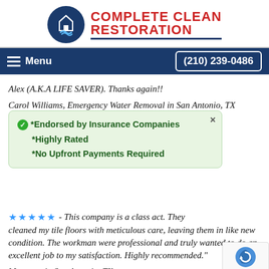[Figure (logo): Complete Clean Restoration logo with circular dark blue icon and red bold text]
Menu  (210) 239-0486
Alex (A.K.A LIFE SAVER). Thanks again!!
Carol Williams, Emergency Water Removal in San Antonio, TX
*Endorsed by Insurance Companies
*Highly Rated
*No Upfront Payments Required
★★★★★ - This company is a class act. They cleaned my tile floors with meticulous care, leaving them in like new condition. The workman were professional and truly wanted to do an excellent job to my satisfaction. Highly recommended."
Margaret in San Antonio, TX